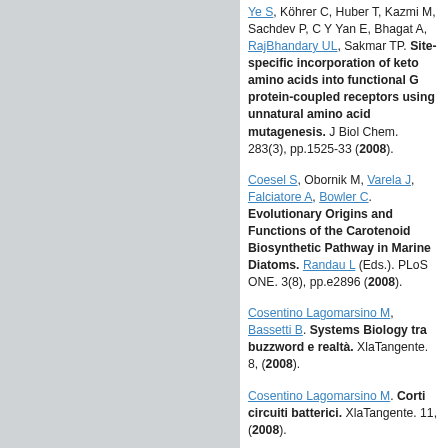Ye S, Köhrer C, Huber T, Kazmi M, Sachdev P, C Y Yan E, Bhagat A, RajBhandary UL, Sakmar TP. Site-specific incorporation of keto amino acids into functional G protein-coupled receptors using unnatural amino acid mutagenesis. J Biol Chem. 283(3), pp.1525-33 (2008).
Coesel S, Obornik M, Varela J, Falciatore A, Bowler C. Evolutionary Origins and Functions of the Carotenoid Biosynthetic Pathway in Marine Diatoms. Randau L (Eds.). PLoS ONE. 3(8), pp.e2896 (2008).
Cosentino Lagomarsino M, Bassetti B. Systems Biology tra buzzword e realtà. XlaTangente. 8, (2008).
Cosentino Lagomarsino M. Corti circuiti batterici. XlaTangente. 11, (2008).
Sacquin-Mora S, Carbone A, Lavery R. Identification of Protein Interaction Partners and Protein–Protein Interaction Sites. Journal of Molecular Biology. 282, pp.1876–1889.